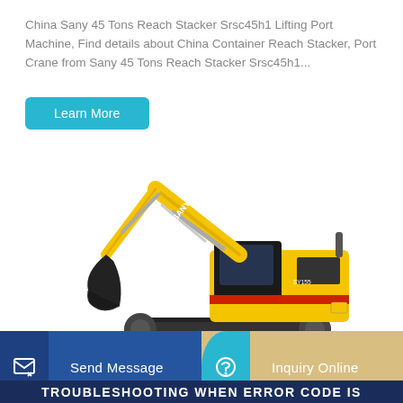China Sany 45 Tons Reach Stacker Srsc45h1 Lifting Port Machine, Find details about China Container Reach Stacker, Port Crane from Sany 45 Tons Reach Stacker Srsc45h1...
Learn More
[Figure (photo): Yellow SANY brand excavator/crawler hydraulic excavator on white background, showing extended arm with bucket attachment and tracked undercarriage]
Send Message
Inquiry Online
TROUBLESHOOTING WHEN ERROR CODE IS